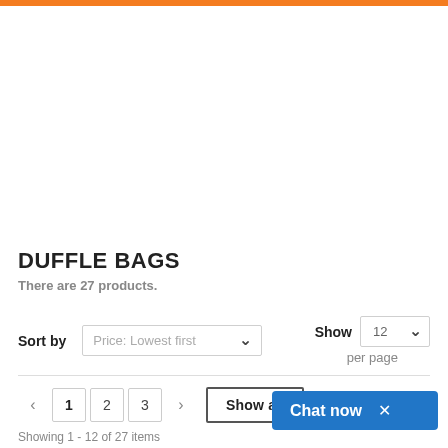DUFFLE BAGS
There are 27 products.
Sort by  Price: Lowest first    Show  12  per page
< 1 2 3 > Show all
Showing 1 - 12 of 27 items
[Figure (screenshot): Chat now button with close X, blue background, bottom right corner]